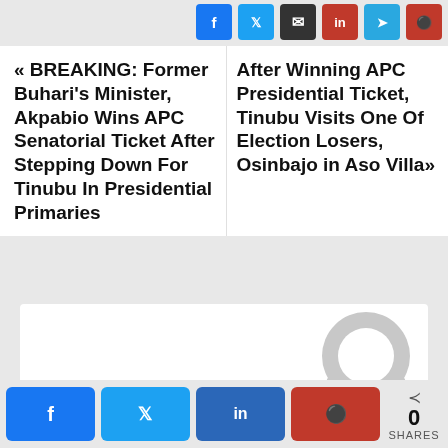[Figure (infographic): Social sharing icon buttons row: Facebook (blue), Twitter (light blue), Email (dark), LinkedIn (red), Telegram (light blue), Pinterest (dark red)]
« BREAKING: Former Buhari's Minister, Akpabio Wins APC Senatorial Ticket After Stepping Down For Tinubu In Presidential Primaries
After Winning APC Presidential Ticket, Tinubu Visits One Of Election Losers, Osinbajo in Aso Villa»
[Figure (photo): Grey placeholder avatar/profile image (horseshoe/arch shape)]
[Figure (infographic): Bottom share bar with Facebook, Twitter, LinkedIn, Pinterest buttons and share count showing 0 SHARES]